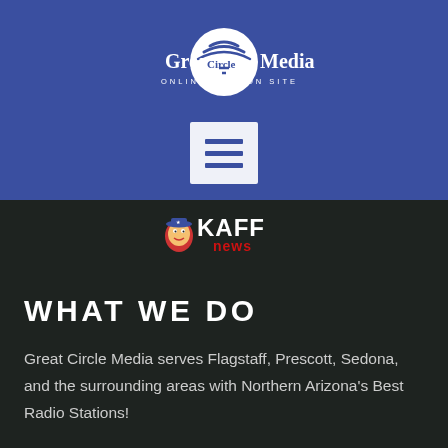[Figure (logo): Great Circle Media logo — white circle with radio wave lines above, text 'Great Circle Media' with tagline 'ONLINE ON AIR ON SITE' on blue background]
[Figure (other): White hamburger menu icon button (three horizontal bars) on blue background]
[Figure (logo): KAFF News logo — red, white, and blue stylized text logo on dark background]
WHAT WE DO
Great Circle Media serves Flagstaff, Prescott, Sedona, and the surrounding areas with Northern Arizona's Best Radio Stations!